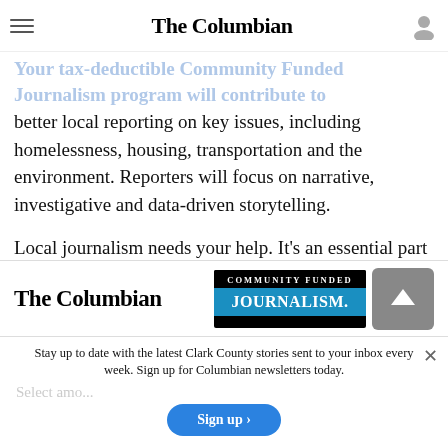The Columbian
Your tax-deductible Community Funded Journalism program will contribute to better local reporting on key issues, including homelessness, housing, transportation and the environment. Reporters will focus on narrative, investigative and data-driven storytelling.
Local journalism needs your help. It's an essential part of a healthy community and a healthy democracy.
[Figure (logo): The Columbian newspaper logo and Community Funded Journalism badge]
Stay up to date with the latest Clark County stories sent to your inbox every week. Sign up for Columbian newsletters today.
Select amount
Sign up >